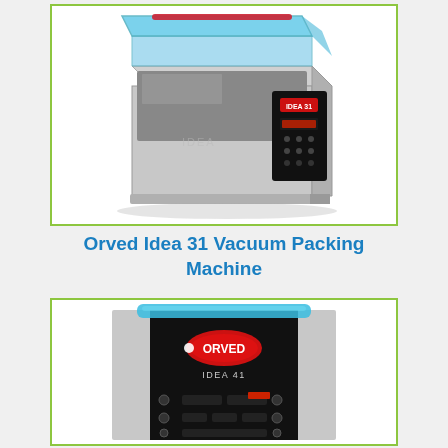[Figure (photo): Photo of Orved Idea 31 Vacuum Packing Machine – a stainless steel countertop vacuum sealer with a transparent blue lid open, showing the chamber interior, and a black digital control panel on the front right.]
Orved Idea 31 Vacuum Packing Machine
[Figure (photo): Close-up photo of Orved Idea 41 Vacuum Packing Machine – front view showing a black control panel with the ORVED logo in red and white, 'IDEA 41' label, and various control buttons and a small display, with a transparent blue lid handle at the top and stainless steel sides.]